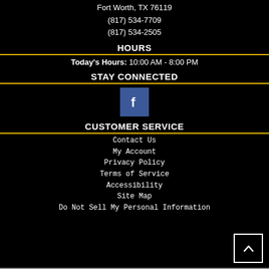Fort Worth, TX 76119
(817) 534-7709
(817) 534-2505
HOURS
Today's Hours: 10:00 AM - 8:00 PM
STAY CONNECTED
[Figure (logo): Facebook icon — blue square with white 'f' letter]
CUSTOMER SERVICE
Contact Us
My Account
Privacy Policy
Terms of Service
Accessibility
Site Map
Do Not Sell My Personal Information